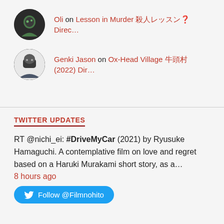Oli on Lesson in Murder 殺人レッスン Direc...
Genki Jason on Ox-Head Village 牛頭村 (2022) Dir...
TWITTER UPDATES
RT @nichi_ei: #DriveMyCar (2021) by Ryusuke Hamaguchi. A contemplative film on love and regret based on a Haruki Murakami short story, as a... 8 hours ago
Follow @Filmnohito